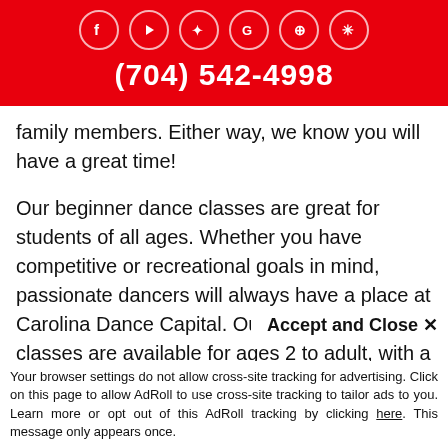(704) 542-4998 [with social media icons for Facebook, YouTube, Twitter, Google, Pinterest, and a star/asterisk icon]
family members. Either way, we know you will have a great time!
Our beginner dance classes are great for students of all ages. Whether you have competitive or recreational goals in mind, passionate dancers will always have a place at Carolina Dance Capital. Our beginner dance classes are available for ages 2 to adult, with a wide range of recreational and competitive
dance classes. Our class sizes a
Accept and Close ✕
Your browser settings do not allow cross-site tracking for advertising. Click on this page to allow AdRoll to use cross-site tracking to tailor ads to you. Learn more or opt out of this AdRoll tracking by clicking here. This message only appears once.